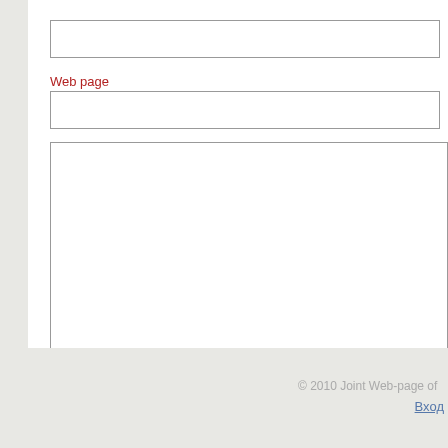[Figure (screenshot): Web form input field (empty text input box at top)]
Web page
[Figure (screenshot): Web form input field for web page URL (empty text input box)]
[Figure (screenshot): Large textarea for comment input (empty)]
Добавить комментарий
© 2010 Joint Web-page of ...
Вход